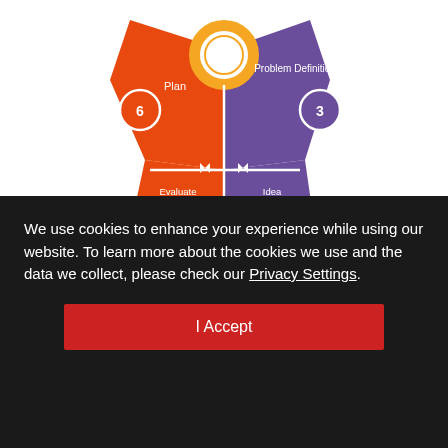[Figure (infographic): Circular innovation process diagram showing 6 numbered stages arranged around a central orange circle: Plan (orange, 6), Problem Definition (purple, 3), Idea Finding (purple, 4), Conceptualizer (purple icon), Evaluate & Select (orange, 5), Optimizer (orange icon with bar chart). Small directional arrows between stages.]
Our virtual team building session is based around the Innovation Profile. The Profile measures your unique
We use cookies to enhance your experience while using our website. To learn more about the cookies we use and the data we collect, please check our Privacy Settings.
I Accept